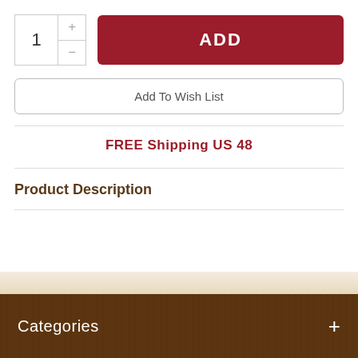[Figure (screenshot): Quantity selector box showing '1' with plus and minus buttons, alongside a dark red ADD button]
Add To Wish List
FREE Shipping US 48
Product Description
Categories +